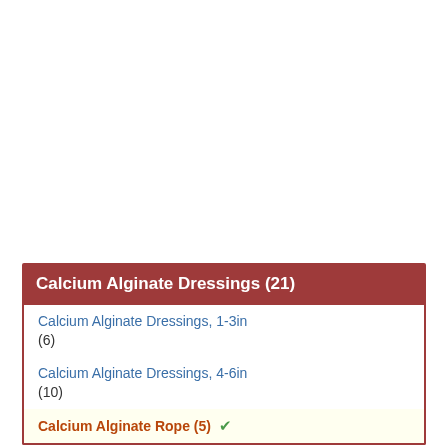Calcium Alginate Dressings (21)
Calcium Alginate Dressings, 1-3in (6)
Calcium Alginate Dressings, 4-6in (10)
Calcium Alginate Rope (5)
Calcium Alginate Rope Information
Best Uses For Calcium Alginate